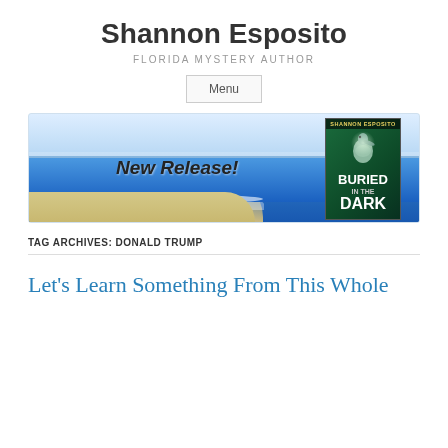Shannon Esposito
FLORIDA MYSTERY AUTHOR
Menu
[Figure (illustration): Website banner image showing a Florida beach scene with ocean waves and sand. Text reads 'New Release!' in cursive script on the left side. On the right is a book cover for 'Buried in the Dark' by Shannon Esposito, showing a pelican against a dark green background.]
TAG ARCHIVES: DONALD TRUMP
Let's Learn Something From This Whole